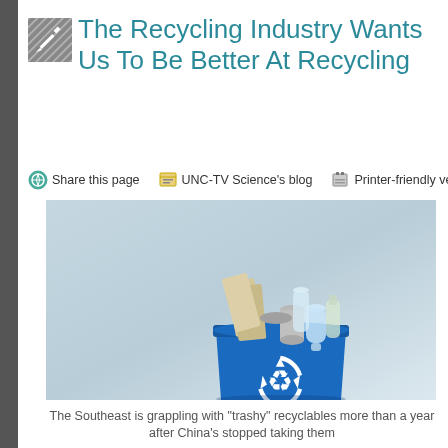The Recycling Industry Wants Us To Be Better At Recycling
Share this page   UNC-TV Science's blog   Printer-friendly version
[Figure (photo): A blue recycling bin filled with recyclable materials including newspapers, plastic bottles, and metal cans, set against a light blue-grey background.]
The Southeast is grappling with "trashy" recyclables more than a year after China's stopped taking them